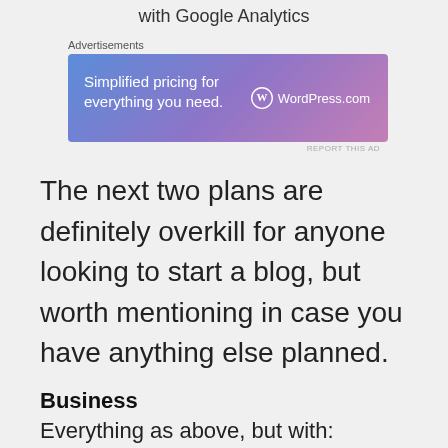with Google Analytics
Advertisements
[Figure (other): WordPress.com advertisement banner with gradient blue-purple background. Text reads: 'Simplified pricing for everything you need.' with the WordPress.com logo on the right.]
REPORT THIS AD
The next two plans are definitely overkill for anyone looking to start a blog, but worth mentioning in case you have anything else planned.
Business
Everything as above, but with: